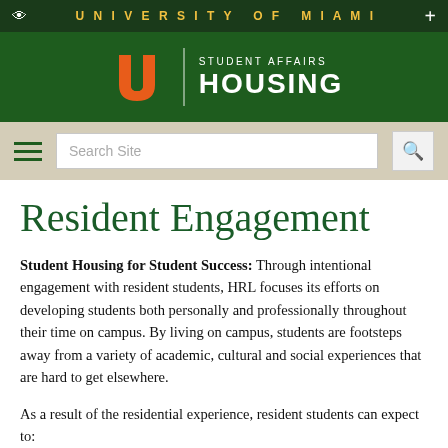UNIVERSITY OF MIAMI
[Figure (logo): University of Miami Student Affairs Housing logo with orange U logo and white text on dark green background]
[Figure (screenshot): Navigation bar with hamburger menu, search box with placeholder 'Search Site', and search button]
Resident Engagement
Student Housing for Student Success: Through intentional engagement with resident students, HRL focuses its efforts on developing students both personally and professionally throughout their time on campus. By living on campus, students are footsteps away from a variety of academic, cultural and social experiences that are hard to get elsewhere.
As a result of the residential experience, resident students can expect to: